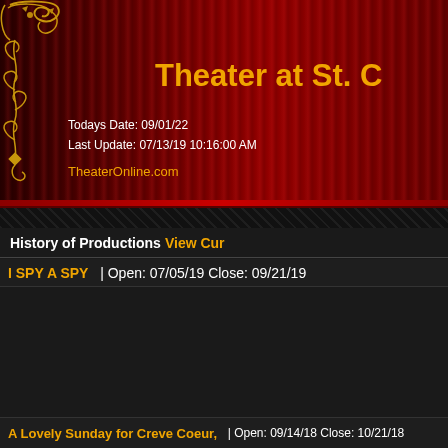Theater at St. C
Todays Date: 09/01/22
Last Update: 07/13/19 10:16:00 AM
TheaterOnline.com
History of Productions View Current
I SPY A SPY  | Open: 07/05/19 Close: 09/21/19
[Figure (illustration): I Spy A Spy musical comedy show poster with cartoon characters and city skyline]
In a "melting pot" neighborhood in Hell's Kit... has an American Dream - to become "a son..." an American Dream – to bring down Americ... preposterous and hilarious plot twist after a... destinies. I Spy A Spy is a musical roller co... spies, a Pakistani pizza proprietor, a Korean...
A Lovely Sunday for Creve Coeur,  | Open: 09/14/18 Close: 10/21/18